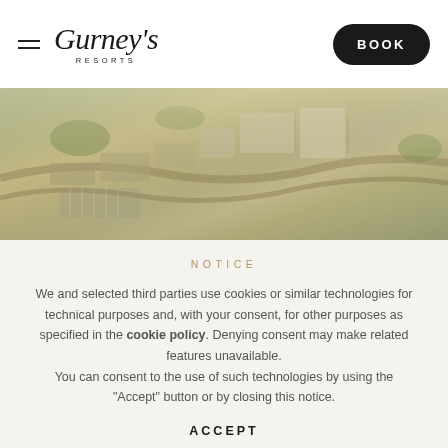Gurney's Resorts — BOOK
[Figure (photo): Aerial view of Gurney's Resorts property showing buildings, landscaping, and parking areas from above]
NOTICE
We and selected third parties use cookies or similar technologies for technical purposes and, with your consent, for other purposes as specified in the cookie policy. Denying consent may make related features unavailable. You can consent to the use of such technologies by using the "Accept" button or by closing this notice.
ACCEPT
LEARN MORE AND CUSTOMIZE